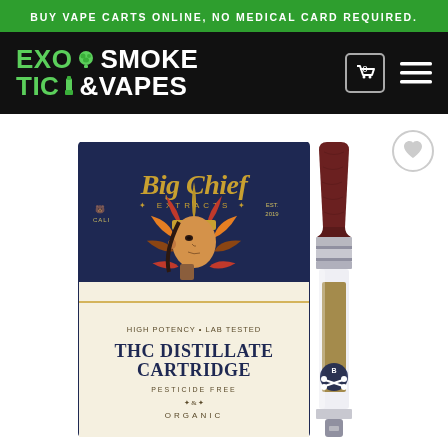BUY VAPE CARTS ONLINE, NO MEDICAL CARD REQUIRED.
[Figure (logo): Exo Smoke Tic & Vapes logo on black header with cart icon showing 0 items and hamburger menu]
[Figure (photo): Big Chief Extracts THC Distillate Cartridge product box (navy blue and cream, with Native American chief illustration in headdress, gold text reading Big Chief Extracts, EST. 2019, HIGH POTENCY - LAB TESTED, THC DISTILLATE CARTRIDGE, PESTICIDE FREE, ORGANIC) alongside a vape cartridge with dark red/maroon mouthpiece]